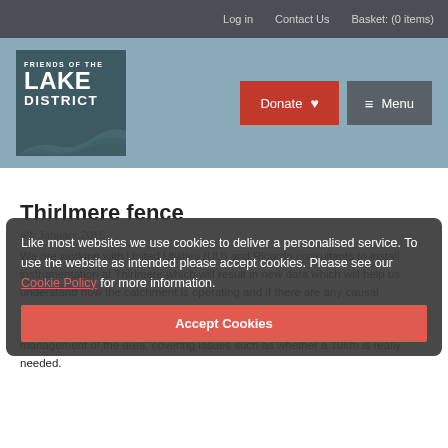Log in   Contact Us   Basket: (0 items)
[Figure (logo): Friends of the Lake District logo — dark teal box with white text and topographic contour line illustration]
Donate  ♥   ≡ Menu
Thirlmere fence
4th January 2016
We are working with United Utilities (UU) and Ricardo consultants to install instrumentation at Thirlmere which will result in new data which will help us understand how the catchment is operating and if there are any causal relationships. We are also working with other partners to take this work forward. In a couple of years it will help inform debates about the future land management of the area, covering issues such as whether a 10km is really needed.
Like most websites we use cookies to deliver a personalised service. To use the website as intended please accept cookies. Please see our Cookie Policy for more information.
Accept Cookies